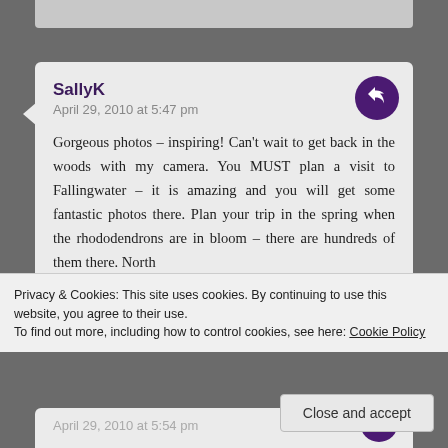[Figure (screenshot): Top portion of a previous comment card, cropped at top of page]
SallyK
April 29, 2010 at 5:47 pm

Gorgeous photos - inspiring! Can't wait to get back in the woods with my camera. You MUST plan a visit to Fallingwater - it is amazing and you will get some fantastic photos there. Plan your trip in the spring when the rhododendrons are in bloom - there are hundreds of them there. North
Privacy & Cookies: This site uses cookies. By continuing to use this website, you agree to their use.
To find out more, including how to control cookies, see here: Cookie Policy
Close and accept
April 29, 2010 at 5:54 pm